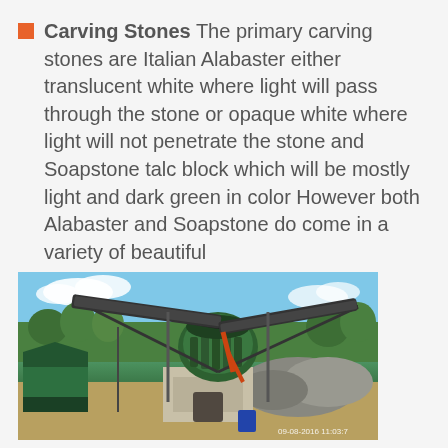Carving Stones The primary carving stones are Italian Alabaster either translucent white where light will pass through the stone or opaque white where light will not penetrate the stone and Soapstone talc block which will be mostly light and dark green in color However both Alabaster and Soapstone do come in a variety of beautiful
[Figure (photo): Outdoor photograph of an industrial stone crushing machine with green metal structure, conveyor belts, and a concrete base, surrounded by piles of rocks and trees. Timestamp 09-08-2016 11:03:7 visible in bottom right corner.]